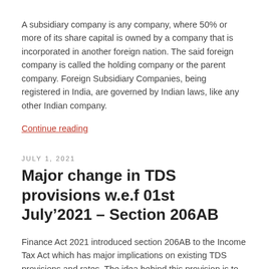A subsidiary company is any company, where 50% or more of its share capital is owned by a company that is incorporated in another foreign nation. The said foreign company is called the holding company or the parent company. Foreign Subsidiary Companies, being registered in India, are governed by Indian laws, like any other Indian company.
Continue reading
JULY 1, 2021
Major change in TDS provisions w.e.f 01st July’2021 – Section 206AB
Finance Act 2021 introduced section 206AB to the Income Tax Act which has major implications on existing TDS provisions and rates. The idea behind this provision is to extract Tax at source from persons who are not filing their IT Returns, thereby making the businesses more responsible towards filing their returns regularly.